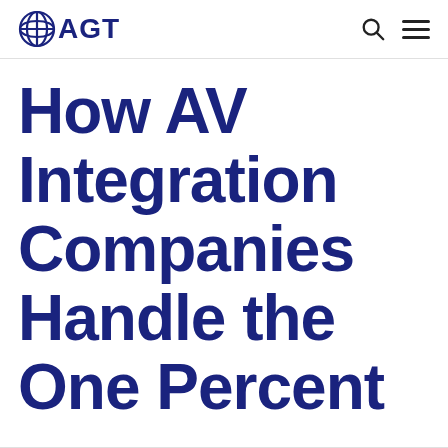AGT
How AV Integration Companies Handle the One Percent